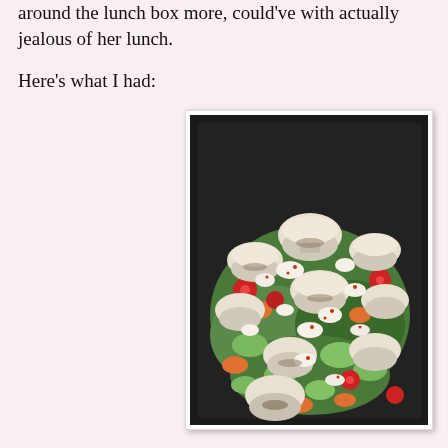around the lunch box more, could've with actually jealous of her lunch.
Here's what I had:
[Figure (photo): A black takeout container filled with a salad containing sliced mushrooms, cherry tomatoes, celery, carrots, and crumbled white cheese (likely feta or goat cheese) with red pepper flakes on top.]